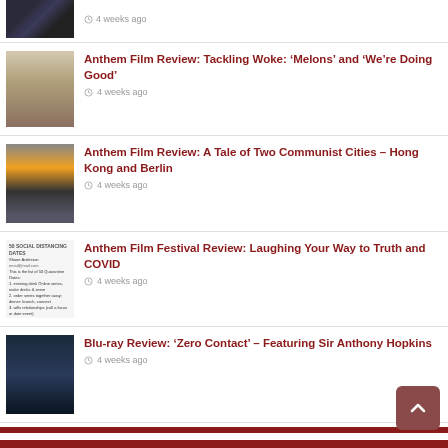[Figure (photo): Aerial/dark photo with timestamp '4 weeks ago']
Anthem Film Review: Tackling Woke: ‘Melons’ and ‘We’re Doing Good’ · 4 weeks ago
Anthem Film Review: A Tale of Two Communist Cities – Hong Kong and Berlin · 4 weeks ago
Anthem Film Festival Review: Laughing Your Way to Truth and COVID · 4 weeks ago
Blu-ray Review: ‘Zero Contact’ – Featuring Sir Anthony Hopkins · 4 weeks ago
RECENT COMMENTS